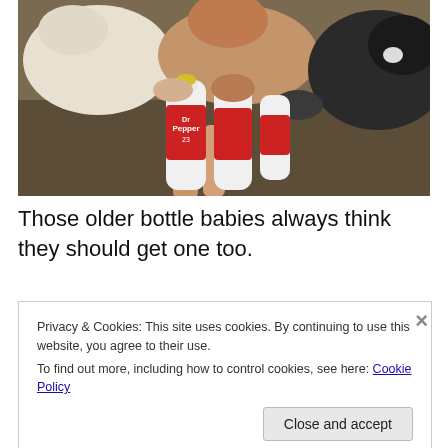[Figure (photo): A hand holding multiple Dr Pepper bottles being used as baby bottles to feed several goats (bottle babies) crowding around. The goats are white, tan/brown, and black-and-white colored. The photo is taken from above looking down.]
Those older bottle babies always think they should get one too.
Privacy & Cookies: This site uses cookies. By continuing to use this website, you agree to their use.
To find out more, including how to control cookies, see here: Cookie Policy